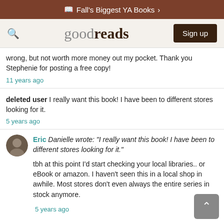Fall's Biggest YA Books ›
goodreads  Sign up
wrong, but not worth more money out my pocket. Thank you Stephenie for posting a free copy!
11 years ago
deleted user I really want this book! I have been to different stores looking for it.
5 years ago
Eric Danielle wrote: "I really want this book! I have been to different stores looking for it."
tbh at this point I'd start checking your local libraries.. or eBook or amazon. I haven't seen this in a local shop in awhile. Most stores don't even always the entire series in stock anymore.
5 years ago